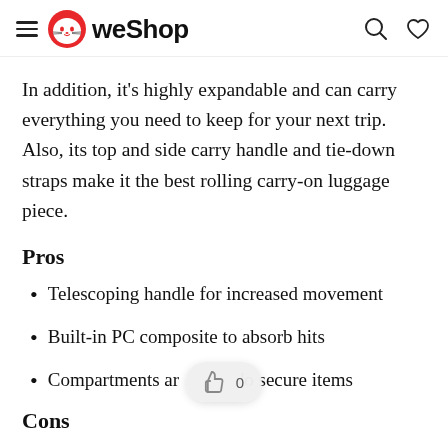WeShop
In addition, it's highly expandable and can carry everything you need to keep for your next trip. Also, its top and side carry handle and tie-down straps make it the best rolling carry-on luggage piece.
Pros
Telescoping handle for increased movement
Built-in PC composite to absorb hits
Compartments and zippers to secure items
Cons